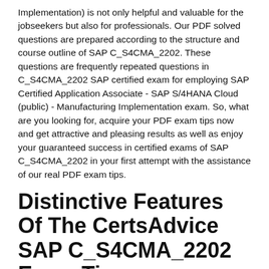Implementation) is not only helpful and valuable for the jobseekers but also for professionals. Our PDF solved questions are prepared according to the structure and course outline of SAP C_S4CMA_2202. These questions are frequently repeated questions in C_S4CMA_2202 SAP certified exam for employing SAP Certified Application Associate - SAP S/4HANA Cloud (public) - Manufacturing Implementation exam. So, what are you looking for, acquire your PDF exam tips now and get attractive and pleasing results as well as enjoy your guaranteed success in certified exams of SAP C_S4CMA_2202 in your first attempt with the assistance of our real PDF exam tips.
Distinctive Features Of The CertsAdvice SAP C_S4CMA_2202 Exam Tips
The CertsAdvice constantly guaranteed that customers are offered with the proficient and latest SAP C_S4CMA_2202 exam study material. Our platform will constantly keep you up-to-date with new features and liberates that will make your task easier. We are continuously promoting our SAP C_S4CMA_2202 exam solved